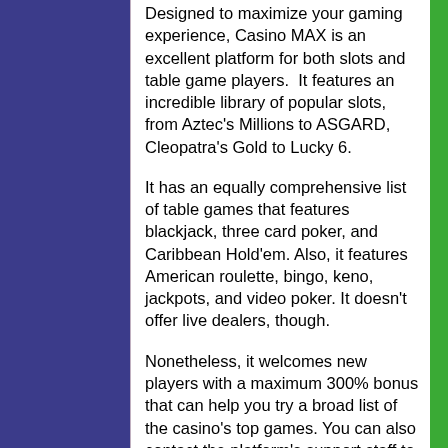Designed to maximize your gaming experience, Casino MAX is an excellent platform for both slots and table game players.  It features an incredible library of popular slots, from Aztec's Millions to ASGARD, Cleopatra's Gold to Lucky 6.
It has an equally comprehensive list of table games that features blackjack, three card poker, and Caribbean Hold'em. Also, it features American roulette, bingo, keno, jackpots, and video poker. It doesn't offer live dealers, though.
Nonetheless, it welcomes new players with a maximum 300% bonus that can help you try a broad list of the casino's top games. You can also contact the platform's support staff to enquire about receiving more bonuses or for any issues you might have.